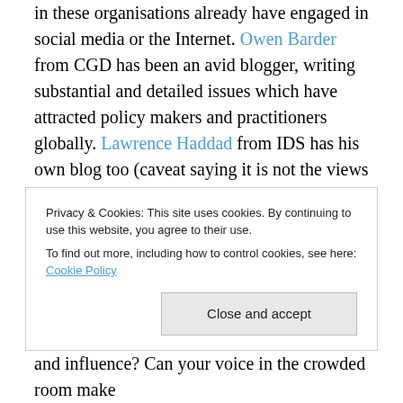in these organisations already have engaged in social media or the Internet. Owen Barder from CGD has been an avid blogger, writing substantial and detailed issues which have attracted policy makers and practitioners globally. Lawrence Haddad from IDS has his own blog too (caveat saying it is not the views of IDS) which analysis on not just development issues but how UK political parties have approached development. Oxfam's former research head and now strategic adviser Duncan Green, who does not even have a degree related to international
Privacy & Cookies: This site uses cookies. By continuing to use this website, you agree to their use.
To find out more, including how to control cookies, see here: Cookie Policy
and influence? Can your voice in the crowded room make